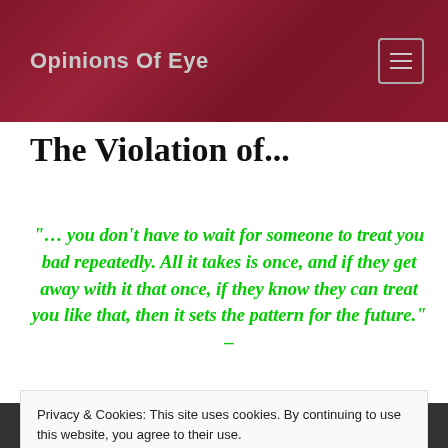Opinions Of Eye
The Violation of...
“… you don’t have to wait for someone to treat you bad repeatedly. All it takes is once, and if they get away with it that once, if they know they can treat you like that, then it sets the pattern for the future.” –
Jane Green, Bookends
Privacy & Cookies: This site uses cookies. By continuing to use this website, you agree to their use.
To find out more, including how to control cookies, see here: Cookie Policy
Close and accept
[Figure (photo): Partial view of a black and white photograph at the bottom of the page]